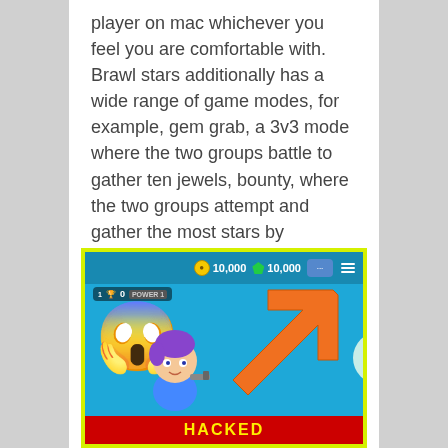player on mac whichever you feel you are comfortable with. Brawl stars additionally has a wide range of game modes, for example, gem grab, a 3v3 mode where the two groups battle to gather ten jewels, bounty, where the two groups attempt and gather the most stars by vanquishing adversaries, brawl ball, where the two groups battle to get two objectives, heist, where the two groups battle to tear open the adversary safe, siege, where.
[Figure (screenshot): Brawl Stars game screenshot with emoji skull overlay and large orange arrow pointing upper-left, game HUD showing 10,000 coins and 10,000 gems, character on blue background, red text at bottom]